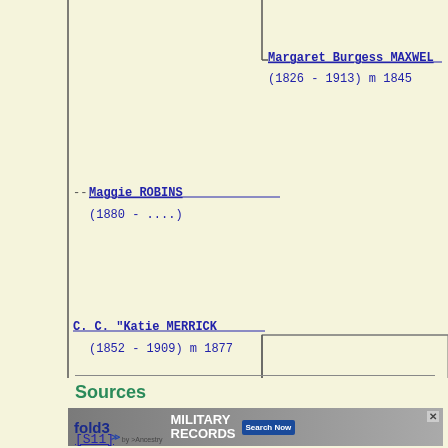[Figure (organizational-chart): Genealogy family tree pedigree chart showing ancestors. Margaret Burgess MAXWELL (1826-1913) m 1845 in upper right branch, Maggie ROBINS (1880-....) in left branch, C.C. 'Katie MERRICK (1852-1909) m 1877 in lower left. Vertical and horizontal lines connect family members.]
Sources
[Figure (screenshot): Fold3 by Ancestry advertisement banner: Military Records, Search Now button, close X button, with photo of soldier]
[S11]